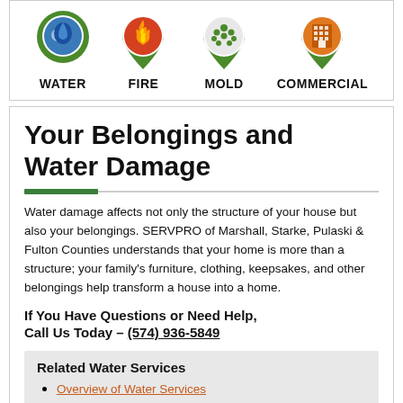[Figure (infographic): Four service icons (map pins) labeled WATER, FIRE, MOLD, COMMERCIAL]
Your Belongings and Water Damage
Water damage affects not only the structure of your house but also your belongings. SERVPRO of Marshall, Starke, Pulaski & Fulton Counties understands that your home is more than a structure; your family's furniture, clothing, keepsakes, and other belongings help transform a house into a home.
If You Have Questions or Need Help, Call Us Today – (574) 936-5849
Related Water Services
Overview of Water Services
Water Damage Tips